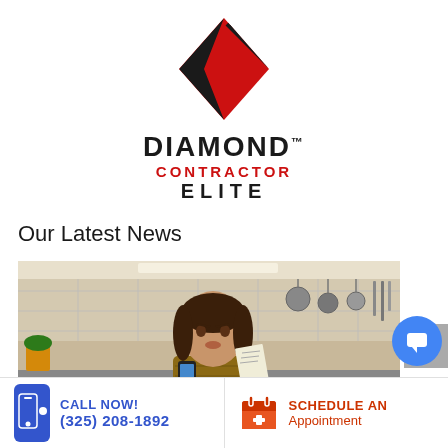[Figure (logo): Diamond Contractor Elite logo with diagonal striped diamond shape in black and red above the brand name text]
Our Latest News
[Figure (photo): Woman in kitchen holding paper and phone, looking stressed, kitchen cabinets and hanging pots in background]
CALL NOW! (325) 208-1892
SCHEDULE AN Appointment